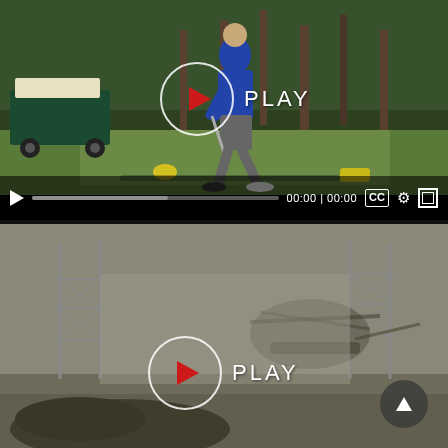[Figure (screenshot): Video player screenshot showing a man in a blue shirt swinging a golf club on a driving range with a golf cart and trees in the background. A white circle with red play triangle and PLAY text overlay is shown at center. Video controls bar at bottom shows play button, progress bar, 00:00 | 00:00 time display, CC button, settings gear, and fullscreen button.]
[Figure (screenshot): Video player screenshot showing a blurry outdoor scene with helicopters on a tarmac or airfield with metal structures visible. A white circle with red play triangle and PLAY text overlay is shown at center. A dark circular navigation arrow button is at the bottom right.]